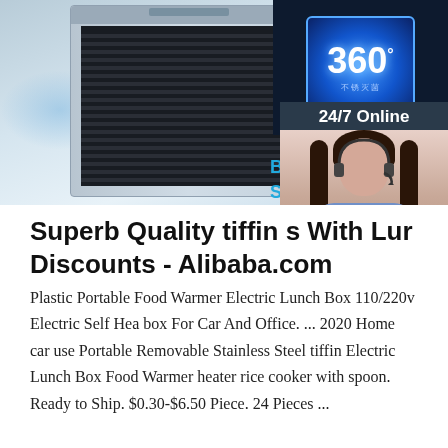[Figure (photo): Product listing page showing a commercial ice maker machine on the left with a blue sterilization display panel on the right, along with a 24/7 online chat widget with a female customer service agent, a QUOTATION button, and a TOP badge overlay.]
Superb Quality tiffin s With Lur Discounts - Alibaba.com
Plastic Portable Food Warmer Electric Lunch Box 110/220v Electric Self Hea box For Car And Office. ... 2020 Home car use Portable Removable Stainless Steel tiffin Electric Lunch Box Food Warmer heater rice cooker with spoon. Ready to Ship. $0.30-$6.50 Piece. 24 Pieces ...